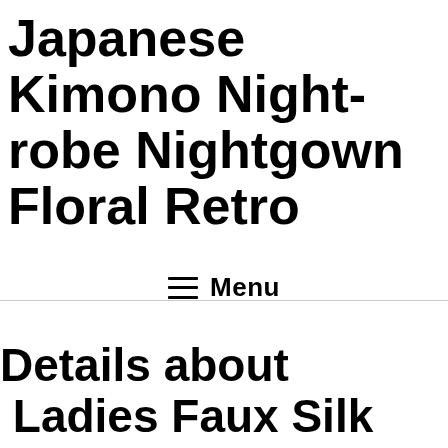Japanese Kimono Night-robe Nightgown Floral Retro
Menu
Details about  Ladies Faux Silk Long Bathrobe Japanese